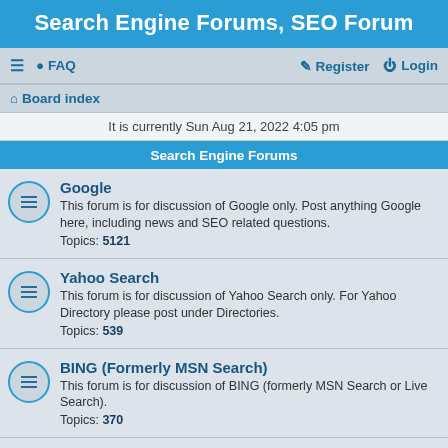Search Engine Forums, SEO Forum
≡  FAQ    Register  Login
Board index
It is currently Sun Aug 21, 2022 4:05 pm
Search Engine Forums